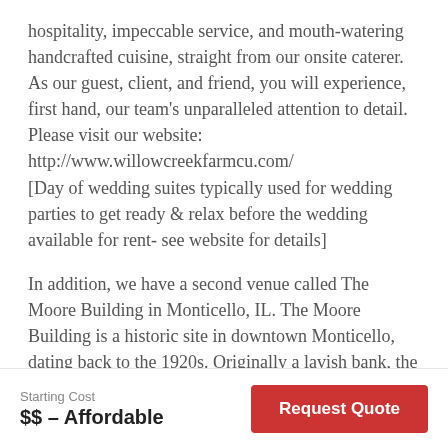hospitality, impeccable service, and mouth-watering handcrafted cuisine, straight from our onsite caterer. As our guest, client, and friend, you will experience, first hand, our team's unparalleled attention to detail. Please visit our website: http://www.willowcreekfarmcu.com/ [Day of wedding suites typically used for wedding parties to get ready & relax before the wedding available for rent- see website for details]
In addition, we have a second venue called The Moore Building in Monticello, IL. The Moore Building is a historic site in downtown Monticello, dating back to the 1920s. Originally a lavish bank, the building is now a venue for events, overnight accommodations, office, and storage. Keeping the original marble floors, 12,000-pound steel
Starting Cost
$$ – Affordable
Request Quote